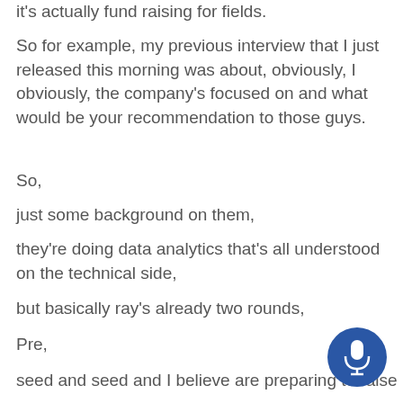it's actually fund raising for fields.
So for example, my previous interview that I just released this morning was about, obviously, I obviously, the company's focused on and what would be your recommendation to those guys.
So,
just some background on them,
they're doing data analytics that's all understood on the technical side,
but basically ray's already two rounds,
Pre,
seed and seed and I believe are preparing to raise
[Figure (illustration): Blue circular microphone button icon in the bottom right corner]